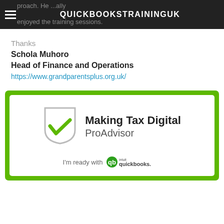QUICKBOOKSTRAININGUK
proach. He ...ally enjoyed the training sessions.
Thanks
Schola Muhoro
Head of Finance and Operations
https://www.grandparentsplus.org.uk/
[Figure (logo): Making Tax Digital ProAdvisor badge with QuickBooks logo. Green border frame containing white background with shield icon featuring green checkmark, text 'Making Tax Digital ProAdvisor' and 'I'm ready with QuickBooks' tagline.]